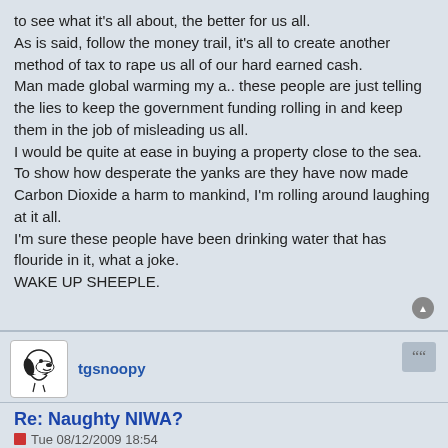to see what it's all about, the better for us all.
As is said, follow the money trail, it's all to create another method of tax to rape us all of our hard earned cash.
Man made global warming my a.. these people are just telling the lies to keep the government funding rolling in and keep them in the job of misleading us all.
I would be quite at ease in buying a property close to the sea.
To show how desperate the yanks are they have now made Carbon Dioxide a harm to mankind, I'm rolling around laughing at it all.
I'm sure these people have been drinking water that has flouride in it, what a joke.
WAKE UP SHEEPLE.
tgsnoopy
Re: Naughty NIWA?
Tue 08/12/2009 18:54
Actually Carbon Dioxide is harmful.

When you exhale it's not so much to get in more oxygen, it's much more to get rid of the carbon dioxide.

Your exhaled breath still contains lots of oxygen.